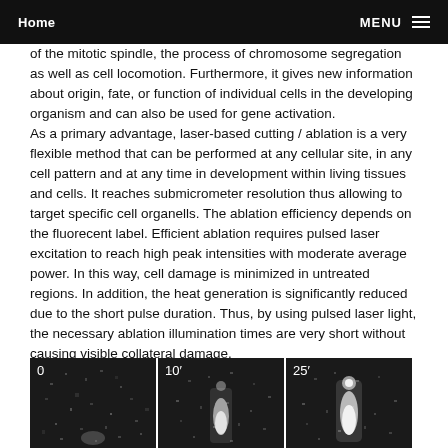Home | MENU
of the mitotic spindle, the process of chromosome segregation as well as cell locomotion. Furthermore, it gives new information about origin, fate, or function of individual cells in the developing organism and can also be used for gene activation. As a primary advantage, laser-based cutting / ablation is a very flexible method that can be performed at any cellular site, in any cell pattern and at any time in development within living tissues and cells. It reaches submicrometer resolution thus allowing to target specific cell organells. The ablation efficiency depends on the fluorecent label. Efficient ablation requires pulsed laser excitation to reach high peak intensities with moderate average power. In this way, cell damage is minimized in untreated regions. In addition, the heat generation is significantly reduced due to the short pulse duration. Thus, by using pulsed laser light, the necessary ablation illumination times are very short without causing visible collateral damage.
[Figure (photo): Three fluorescence microscopy images of a cell at different time points: 0, 10 minutes, and 25 minutes, showing laser ablation effects. Images are grayscale showing bright fluorescent structures against dark background.]